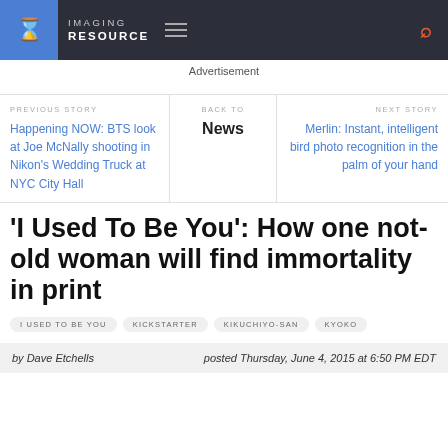IMAGING RESOURCE
Advertisement
PREVIOUS STORY
Happening NOW: BTS look at Joe McNally shooting in Nikon's Wedding Truck at NYC City Hall
BACK TO
News
NEXT STORY
Merlin: Instant, intelligent bird photo recognition in the palm of your hand
'I Used To Be You': How one not-old woman will find immortality in print
I USED TO BE YOU   KICKSTARTER   KIKUCHIYO-SAN   KYOKO
by Dave Etchells   posted Thursday, June 4, 2015 at 6:50 PM EDT